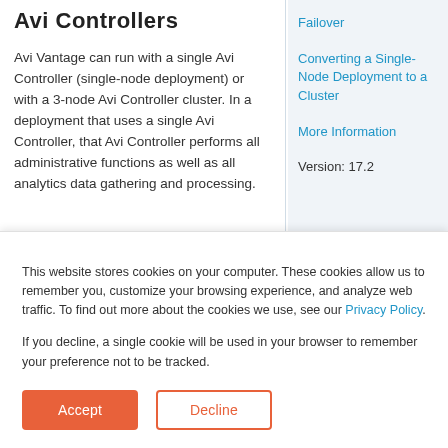Avi Controllers
Avi Vantage can run with a single Avi Controller (single-node deployment) or with a 3-node Avi Controller cluster. In a deployment that uses a single Avi Controller, that Avi Controller performs all administrative functions as well as all analytics data gathering and processing.
Adding 2 additional nodes to create a
Failover
Converting a Single-Node Deployment to a Cluster
More Information
Version: 17.2
This website stores cookies on your computer. These cookies allow us to remember you, customize your browsing experience, and analyze web traffic. To find out more about the cookies we use, see our Privacy Policy.
If you decline, a single cookie will be used in your browser to remember your preference not to be tracked.